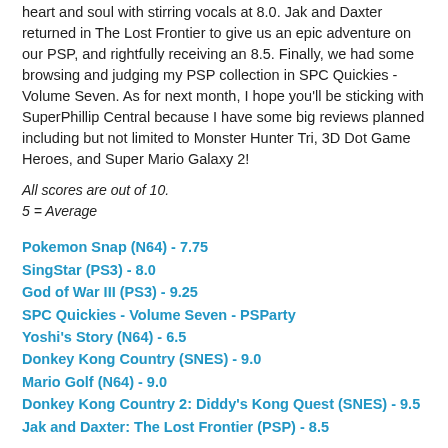heart and soul with stirring vocals at 8.0. Jak and Daxter returned in The Lost Frontier to give us an epic adventure on our PSP, and rightfully receiving an 8.5. Finally, we had some browsing and judging my PSP collection in SPC Quickies - Volume Seven. As for next month, I hope you'll be sticking with SuperPhillip Central because I have some big reviews planned including but not limited to Monster Hunter Tri, 3D Dot Game Heroes, and Super Mario Galaxy 2!
All scores are out of 10.
5 = Average
Pokemon Snap (N64) - 7.75
SingStar (PS3) - 8.0
God of War III (PS3) - 9.25
SPC Quickies - Volume Seven - PSParty
Yoshi's Story (N64) - 6.5
Donkey Kong Country (SNES) - 9.0
Mario Golf (N64) - 9.0
Donkey Kong Country 2: Diddy's Kong Quest (SNES) - 9.5
Jak and Daxter: The Lost Frontier (PSP) - 8.5